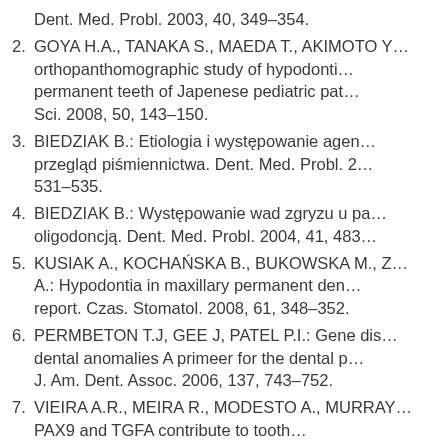Dent. Med. Probl. 2003, 40, 349–354.
2. GOYA H.A., TANAKA S., MAEDA T., AKIMOTO Y…: orthopanthomographic study of hypodonti… permanent teeth of Japenese pediatric pat… Sci. 2008, 50, 143–150.
3. BIEDZIAK B.: Etiologia i występowanie agen… przegląd piśmiennictwa. Dent. Med. Probl. 2… 531–535.
4. BIEDZIAK B.: Występowanie wad zgryzu u pa… oligodoncją. Dent. Med. Probl. 2004, 41, 483…
5. KUSIAK A., KOCHAŃSKA B., BUKOWSKA M., Z… A.: Hypodontia in maxillary permanent den… report. Czas. Stomatol. 2008, 61, 348–352.
6. PERMBETON T.J, GEE J, PATEL P.I.: Gene dis… dental anomalies A primeer for the dental p… J. Am. Dent. Assoc. 2006, 137, 743–752.
7. VIEIRA A.R., MEIRA R., MODESTO A., MURRAY… PAX9 and TGFA contribute to tooth…